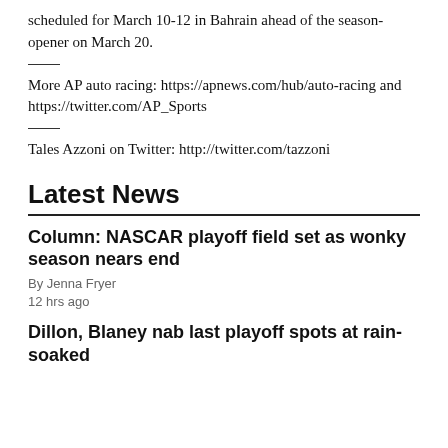scheduled for March 10-12 in Bahrain ahead of the season-opener on March 20.
More AP auto racing: https://apnews.com/hub/auto-racing and https://twitter.com/AP_Sports
Tales Azzoni on Twitter: http://twitter.com/tazzoni
Latest News
Column: NASCAR playoff field set as wonky season nears end
By Jenna Fryer
12 hrs ago
Dillon, Blaney nab last playoff spots at rain-soaked